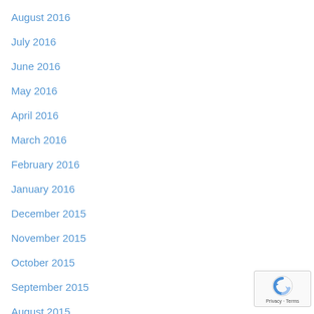August 2016
July 2016
June 2016
May 2016
April 2016
March 2016
February 2016
January 2016
December 2015
November 2015
October 2015
September 2015
August 2015
July 2015
June 2015
[Figure (logo): reCAPTCHA badge with Privacy and Terms text]